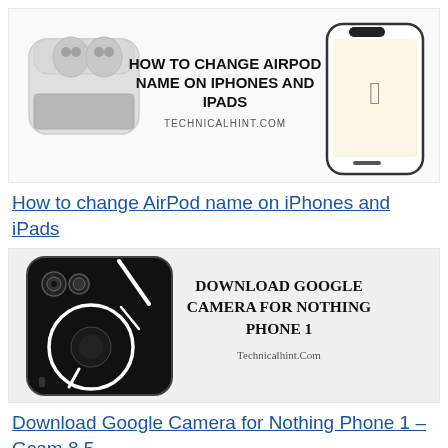[Figure (illustration): Thumbnail image for 'How to change AirPod name on iPhones and iPads' article. Shows AirPods case illustration on left and an iPhone illustration on right with the article title text and technicalhint.com in the center.]
How to change AirPod name on iPhones and iPads
[Figure (illustration): Thumbnail image for 'Download Google Camera for Nothing Phone 1 – Gcam 8.5' article. Shows Nothing Phone 1 (transparent back design) on left and text 'Download Google Camera for Nothing Phone 1' with Technicalhint.Com on right.]
Download Google Camera for Nothing Phone 1 – Gcam 8.5